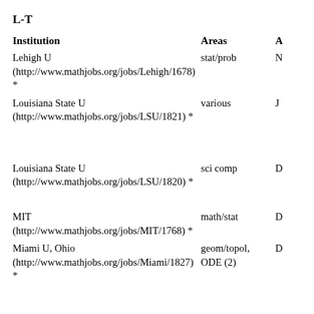L-T
| Institution | Areas | A |
| --- | --- | --- |
| Lehigh U (http://www.mathjobs.org/jobs/Lehigh/1678) * | stat/prob | N |
| Louisiana State U (http://www.mathjobs.org/jobs/LSU/1821) * | various | J |
| Louisiana State U (http://www.mathjobs.org/jobs/LSU/1820) * | sci comp | D |
| MIT (http://www.mathjobs.org/jobs/MIT/1768) * | math/stat | D |
| Miami U, Ohio (http://www.mathjobs.org/jobs/Miami/1827) * | geom/topol, ODE (2) | D |
| Michigan Tech (http://eims.ams.org/jobdetail.cfm?job=3219515) | stat | N |
| Michigan Tech (http://eims.ams.org/jobdetail.cfm?job=3213496) | education | D |
| Missouri S&T U | applied (2) | N |